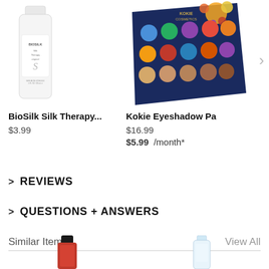[Figure (photo): BioSilk Silk Therapy white bottle product image]
BioSilk Silk Therapy...
$3.99
[Figure (photo): Kokie Eyeshadow Palette product image on dark blue palette case with floral design]
Kokie Eyeshadow Pa
$16.99
$5.99  /month*
> REVIEWS
> QUESTIONS + ANSWERS
Similar Items
View All
[Figure (photo): Product thumbnail - dark bottle with black cap at bottom left]
[Figure (photo): Product thumbnail - clear/white bottle at bottom right]